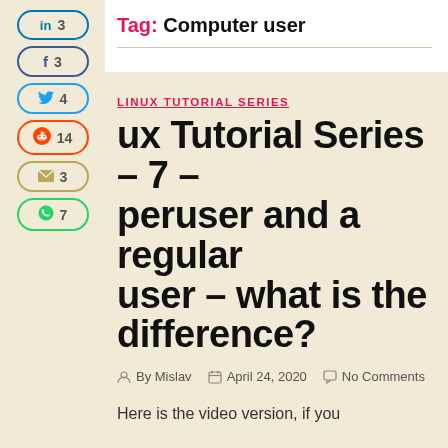Tag: Computer user
[Figure (infographic): Social share sidebar with LinkedIn (3), Facebook (3), Twitter (4), Reddit (14), Email (3), WhatsApp (7) buttons]
LINUX TUTORIAL SERIES
Linux Tutorial Series – 7 – Superuser and a regular user – what is the difference?
By Mislav   April 24, 2020   No Comments
Here is the video version, if you